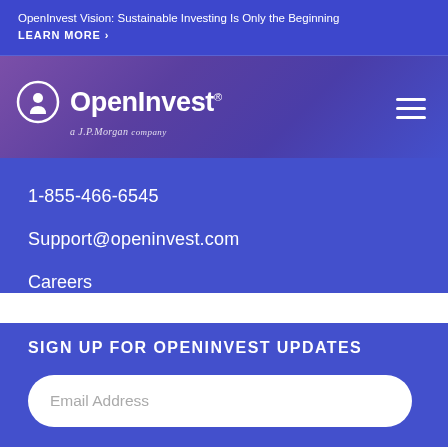OpenInvest Vision: Sustainable Investing Is Only the Beginning
LEARN MORE ›
[Figure (logo): OpenInvest logo with circle icon and text, 'a J.P.Morgan company' subtitle, with hamburger menu icon on right]
1-855-466-6545
Support@openinvest.com
Careers
SIGN UP FOR OPENINVEST UPDATES
Email Address